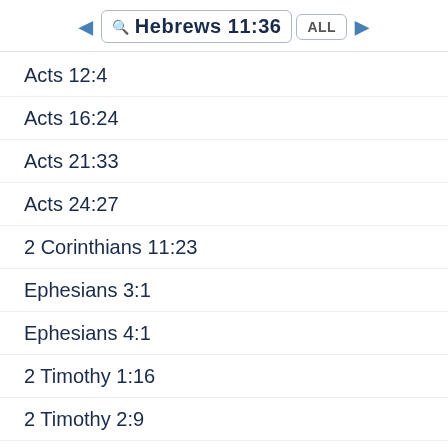Hebrews 11:36  ALL
Acts 12:4
Acts 16:24
Acts 21:33
Acts 24:27
2 Corinthians 11:23
Ephesians 3:1
Ephesians 4:1
2 Timothy 1:16
2 Timothy 2:9
Revelation 2:10